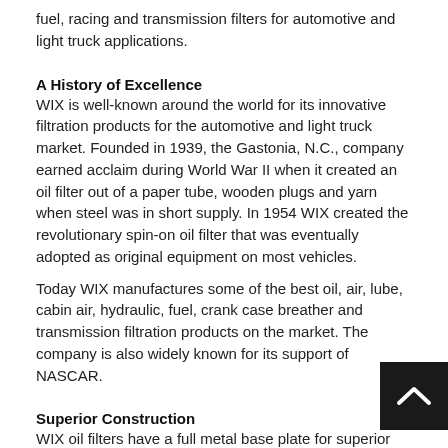fuel, racing and transmission filters for automotive and light truck applications.
A History of Excellence
WIX is well-known around the world for its innovative filtration products for the automotive and light truck market. Founded in 1939, the Gastonia, N.C., company earned acclaim during World War II when it created an oil filter out of a paper tube, wooden plugs and yarn when steel was in short supply. In 1954 WIX created the revolutionary spin-on oil filter that was eventually adopted as original equipment on most vehicles.
Today WIX manufactures some of the best oil, air, lube, cabin air, hydraulic, fuel, crank case breather and transmission filtration products on the market. The company is also widely known for its support of NASCAR.
Superior Construction
WIX oil filters have a full metal base plate for superior strength at the double seal. They also feature a silicone drainback valve that stays flexible in extreme temperatures. This improves oil flow and keeps oil in the filter to prevent dry starts.